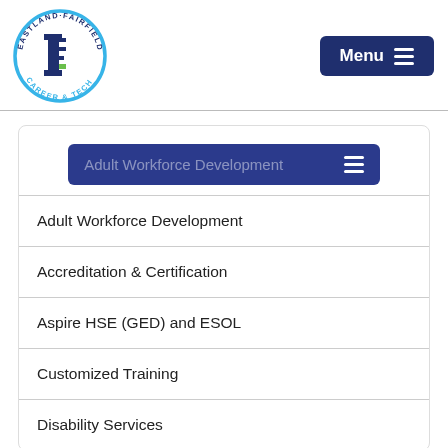[Figure (logo): Eastland-Fairfield Career & Tech circular logo with stylized letter I and E in navy blue and green]
Menu ≡
Adult Workforce Development
Accreditation & Certification
Aspire HSE (GED) and ESOL
Customized Training
Disability Services